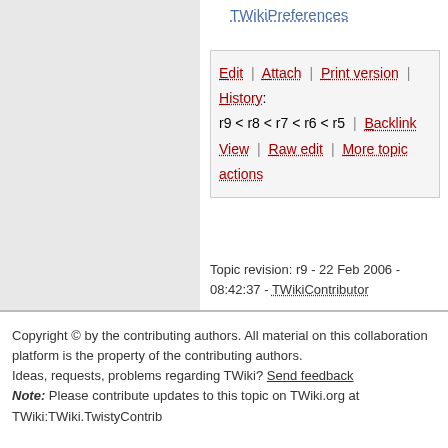TWikiPreferences
Edit | Attach | Print version | History: r9 < r8 < r7 < r6 < r5 | Backlink View | Raw edit | More topic actions
Topic revision: r9 - 22 Feb 2006 - 08:42:37 - TWikiContributor
Copyright © by the contributing authors. All material on this collaboration platform is the property of the contributing authors. Ideas, requests, problems regarding TWiki? Send feedback Note: Please contribute updates to this topic on TWiki.org at TWiki:TWiki.TwistyContrib